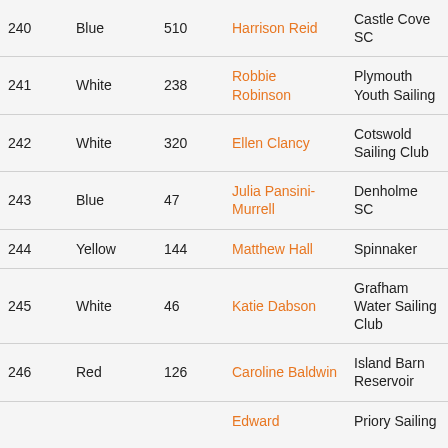| 240 | Blue | 510 | Harrison Reid | Castle Cove SC |
| 241 | White | 238 | Robbie Robinson | Plymouth Youth Sailing |
| 242 | White | 320 | Ellen Clancy | Cotswold Sailing Club |
| 243 | Blue | 47 | Julia Pansini-Murrell | Denholme SC |
| 244 | Yellow | 144 | Matthew Hall | Spinnaker |
| 245 | White | 46 | Katie Dabson | Grafham Water Sailing Club |
| 246 | Red | 126 | Caroline Baldwin | Island Barn Reservoir |
| 247 |  |  | Edward | Priory Sailing |